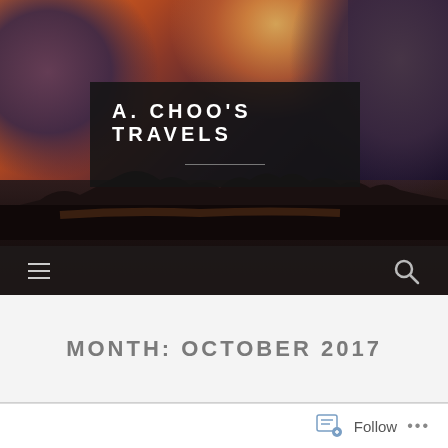[Figure (photo): Hero banner showing a dramatic sunset over water with mountains silhouetted against an orange and purple sky]
A. CHOO'S TRAVELS
[Figure (other): Navigation bar with hamburger menu icon on left and search icon on right]
MONTH: OCTOBER 2017
Follow ...